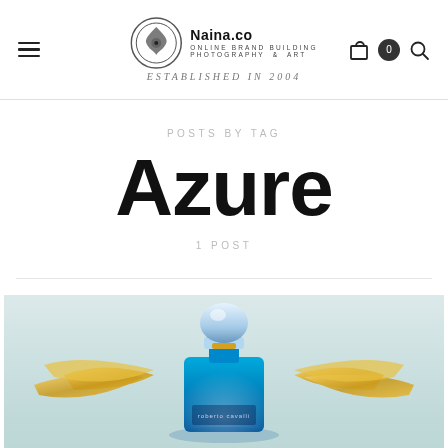Naina.co — Online Brand Building Photography & Art — Established in 2004
POSTS BY TAG
Azure
1 POST
[Figure (photo): A blue perfume bottle (Roberto Cavalli) with ornate golden wings, photographed on a reflective surface with a light grey background.]